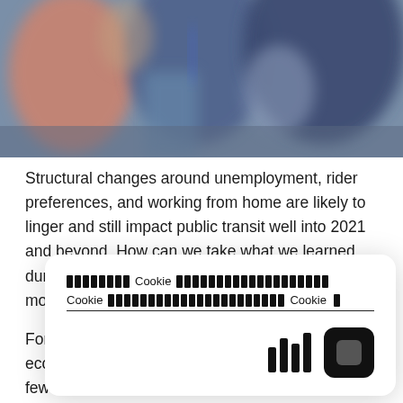[Figure (photo): Blurred photograph of people at a conference or public transit setting, showing figures in business attire with blue and warm tones.]
Structural changes around unemployment, rider preferences, and working from home are likely to linger and still impact public transit well into 2021 and beyond. How can we take what we learned during COVID and build resilient alternative models for public transit?
For this pap[er, we gathered] feedback fr[om experts in] economic m[odeling and] developmen[t to help] spark a few [ideas.]